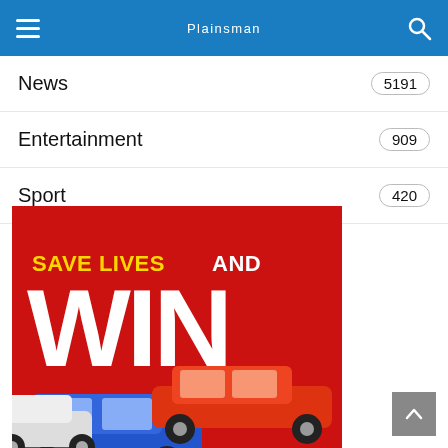Plainsman
News 5191
Entertainment 909
Sport 420
[Figure (illustration): Advertisement banner with red background showing 'SAVE LIVES AND WIN' text in yellow and white, with two cars (blue and red Mitsubishi SUVs) at the bottom]